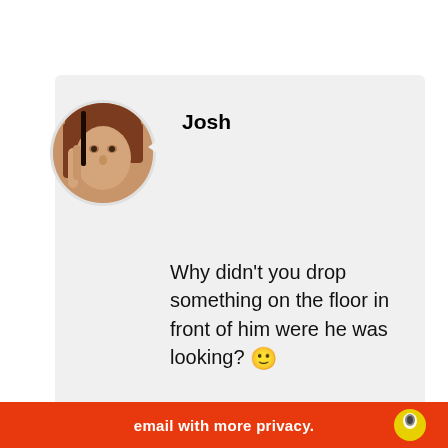[Figure (photo): Circular avatar photo of a person with reddish-brown hair]
Josh
Why didn't you drop something on the floor in front of him were he was looking? 🙂
★ Liked by 1 person
Privacy & Cookies: This site uses cookies. By continuing to use this website, you agree to their use.
To find out more, including how to control cookies, see here: Cookie Policy
Close and accept
email with more privacy.